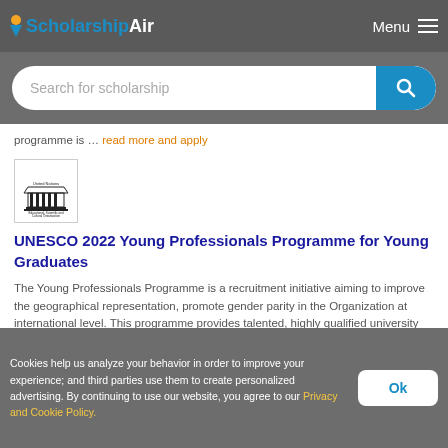ScholarshipAir — Menu
Search for scholarship
programme is … read more and apply
[Figure (logo): UNESCO logo — United Nations Educational, Scientific and Cultural Organization]
UNESCO 2022 Young Professionals Programme for Young Graduates
The Young Professionals Programme is a recruitment initiative aiming to improve the geographical representation, promote gender parity in the Organization at international level. This programme provides talented, highly qualified university graduates and young professionals from non- and under- repr … read more and apply
Cookies help us analyze your behavior in order to improve your experience; and third parties use them to create personalized advertising. By continuing to use our website, you agree to our Privacy and Cookie Policy.